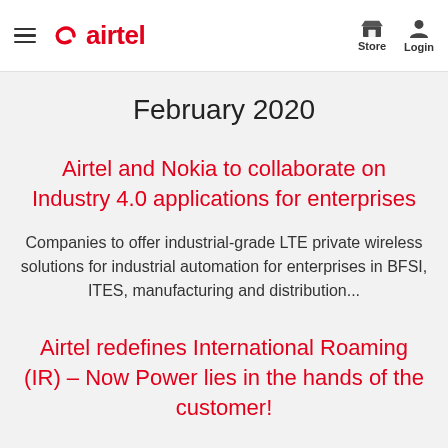airtel | Store | Login
February 2020
Airtel and Nokia to collaborate on Industry 4.0 applications for enterprises
Companies to offer industrial-grade LTE private wireless solutions for industrial automation for enterprises in BFSI, ITES, manufacturing and distribution...
Airtel redefines International Roaming (IR) – Now Power lies in the hands of the customer!